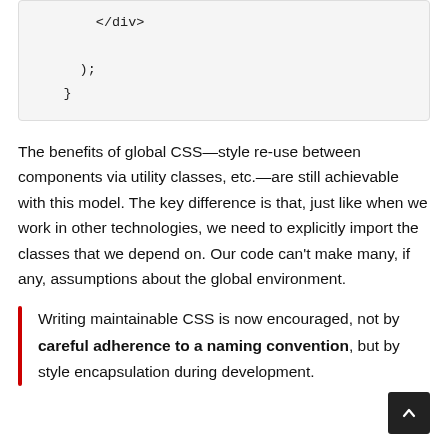[Figure (screenshot): Code block showing closing HTML/JSX tags: </div>, );, }]
The benefits of global CSS—style re-use between components via utility classes, etc.—are still achievable with this model. The key difference is that, just like when we work in other technologies, we need to explicitly import the classes that we depend on. Our code can't make many, if any, assumptions about the global environment.
Writing maintainable CSS is now encouraged, not by careful adherence to a naming convention, but by style encapsulation during development.